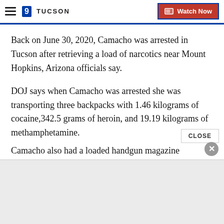9 News Tucson | Watch Now
Back on June 30, 2020, Camacho was arrested in Tucson after retrieving a load of narcotics near Mount Hopkins, Arizona officials say.
DOJ says when Camacho was arrested she was transporting three backpacks with 1.46 kilograms of cocaine,342.5 grams of heroin, and 19.19 kilograms of methamphetamine.
Camacho also had a loaded handgun magazine